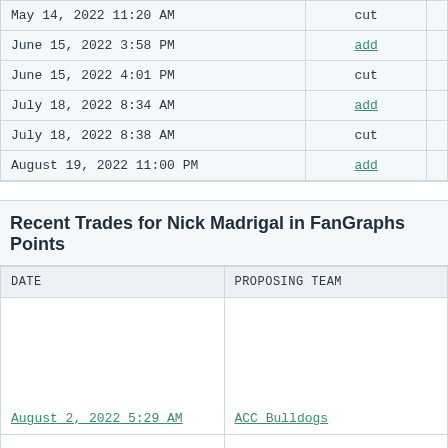| DATE | ACTION |  |
| --- | --- | --- |
| May 14, 2022 11:20 AM | cut |  |
| June 15, 2022 3:58 PM | add |  |
| June 15, 2022 4:01 PM | cut |  |
| July 18, 2022 8:34 AM | add |  |
| July 18, 2022 8:38 AM | cut |  |
| August 19, 2022 11:00 PM | add |  |
Recent Trades for Nick Madrigal in FanGraphs Points
| DATE | PROPOSING TEAM |
| --- | --- |
| August 2, 2022 5:29 AM | ACC Bulldogs |
|  |  |